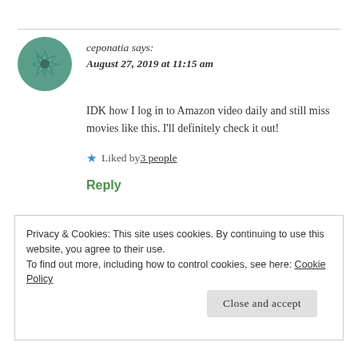ceponatia says: August 27, 2019 at 11:15 am
IDK how I log in to Amazon video daily and still miss movies like this. I'll definitely check it out!
★ Liked by 3 people
Reply
Privacy & Cookies: This site uses cookies. By continuing to use this website, you agree to their use. To find out more, including how to control cookies, see here: Cookie Policy
Close and accept